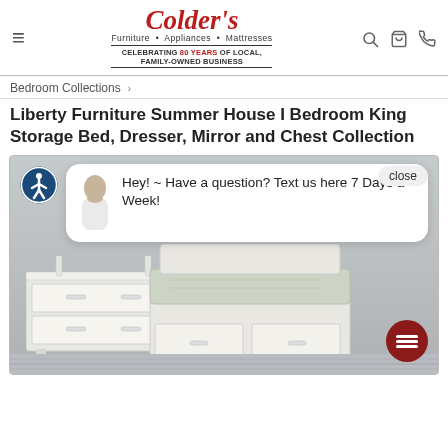[Figure (logo): Colder's Furniture Appliances Mattresses logo with tagline CELEBRATING 80 YEARS OF LOCAL, FAMILY-OWNED BUSINESS]
Bedroom Collections >
Liberty Furniture Summer House I Bedroom King Storage Bed, Dresser, Mirror and Chest Collection
[Figure (screenshot): Product image area showing white bedroom furniture (dresser, mirror, storage bed) with a chat overlay popup saying 'Hey! ~ Have a question? Text us here 7 Days a Week!' with a close button, accessibility icon, and chat button.]